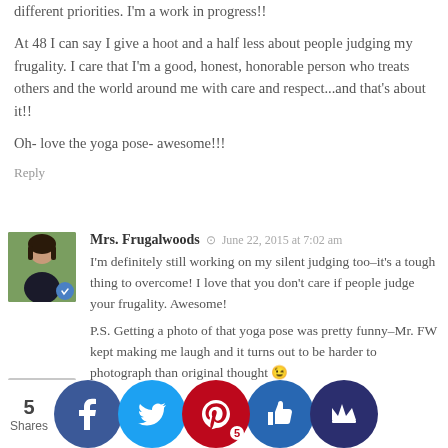different priorities. I'm a work in progress!!
At 48 I can say I give a hoot and a half less about people judging my frugality. I care that I'm a good, honest, honorable person who treats others and the world around me with care and respect...and that's about it!!
Oh- love the yoga pose- awesome!!!
Reply
Mrs. Frugalwoods © June 22, 2015 at 7:02 am
I'm definitely still working on my silent judging too–it's a tough thing to overcome! I love that you don't care if people judge your frugality. Awesome!
P.S. Getting a photo of that yoga pose was pretty funny–Mr. FW kept making me laugh and it turns out to be harder to photograph than original thought 😉
Reply
Kim from Philadelphia © June 18, 2015 at 9:15 am
So- not spending enough has mo...idy!!!
Reply
5 Shares